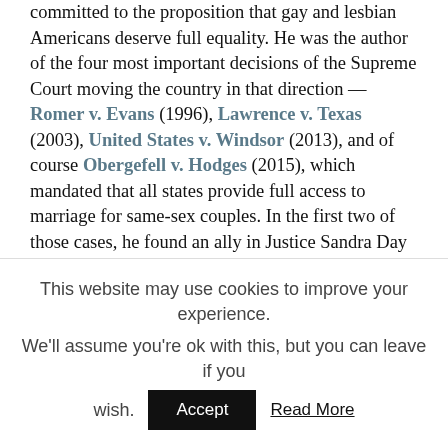committed to the proposition that gay and lesbian Americans deserve full equality. He was the author of the four most important decisions of the Supreme Court moving the country in that direction — Romer v. Evans (1996), Lawrence v. Texas (2003), United States v. Windsor (2013), and of course Obergefell v. Hodges (2015), which mandated that all states provide full access to marriage for same-sex couples. In the first two of those cases, he found an ally in Justice Sandra Day O'Connor, and the court struck down state laws that discriminated against gay people by a margin of 6-3. With O'Connor's departure, Kennedy was the deciding vote in Windsor and Obergefell. Without Kennedy on the court in recent years, we would still be living in a country in which many states refused to grant marriage rights to gay couples.
This website may use cookies to improve your experience. We'll assume you're ok with this, but you can leave if you wish.